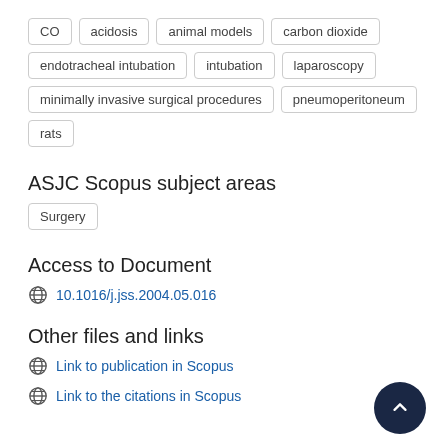CO
acidosis
animal models
carbon dioxide
endotracheal intubation
intubation
laparoscopy
minimally invasive surgical procedures
pneumoperitoneum
rats
ASJC Scopus subject areas
Surgery
Access to Document
10.1016/j.jss.2004.05.016
Other files and links
Link to publication in Scopus
Link to the citations in Scopus